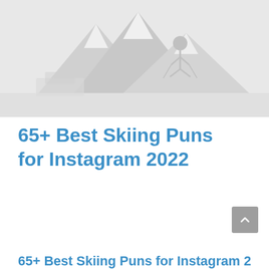[Figure (photo): A faded/greyed out hero image of a skier on a snowy mountain slope]
65+ Best Skiing Puns for Instagram 2022
65+ Best Skiing Puns for Instagram 2022 (partial, at bottom of page)